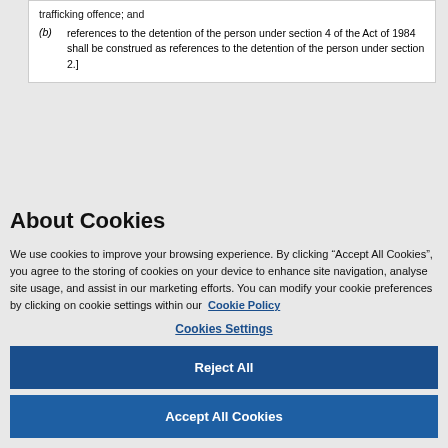trafficking offence; and
(b) references to the detention of the person under section 4 of the Act of 1984 shall be construed as references to the detention of the person under section 2.]
About Cookies
We use cookies to improve your browsing experience. By clicking “Accept All Cookies”, you agree to the storing of cookies on your device to enhance site navigation, analyse site usage, and assist in our marketing efforts. You can modify your cookie preferences by clicking on cookie settings within our  Cookie Policy
Cookies Settings
Reject All
Accept All Cookies